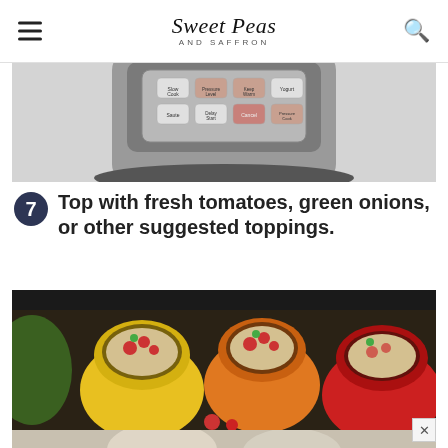Sweet Peas AND SAFFRON
[Figure (photo): Close-up of an Instant Pot pressure cooker control panel with buttons including Saute, Pressure Level, Keep Warm, Yogurt, Delay Start, Cancel, Pressure Cook, on a white counter]
7 Top with fresh tomatoes, green onions, or other suggested toppings.
[Figure (photo): Stuffed bell peppers (yellow, orange, and red) topped with diced fresh tomatoes and green onions, sitting inside a pressure cooker insert]
[Figure (photo): Partial view of stuffed peppers from below, slightly blurred]